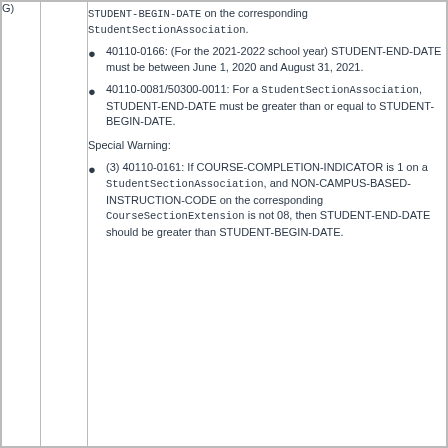STUDENT-BEGIN-DATE on the corresponding StudentSectionAssociation.
40110-0166: (For the 2021-2022 school year) STUDENT-END-DATE must be between June 1, 2020 and August 31, 2021.
40110-0081/50300-0011: For a StudentSectionAssociation, STUDENT-END-DATE must be greater than or equal to STUDENT-BEGIN-DATE.
Special Warning:
(3) 40110-0161: If COURSE-COMPLETION-INDICATOR is 1 on a StudentSectionAssociation, and NON-CAMPUS-BASED-INSTRUCTION-CODE on the corresponding CourseSectionExtension is not 08, then STUDENT-END-DATE should be greater than STUDENT-BEGIN-DATE.